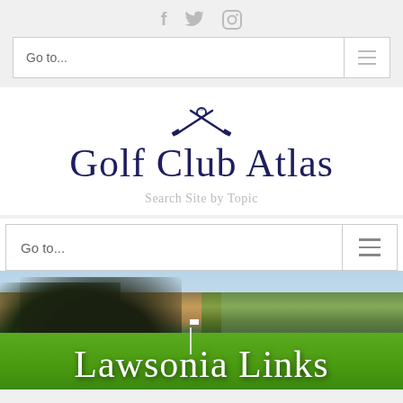[Figure (other): Social media icons: Facebook (f), Twitter (bird), Instagram (camera outline) in gray]
Go to...
[Figure (logo): Golf Club Atlas logo: crossed golf clubs with a ball above, and the text 'Golf Club Atlas' in dark navy serif font]
Search Site by Topic
Go to...
[Figure (photo): Golf course photo showing green fairway, trees in autumn colors, and a flag in the distance. Text overlay reads 'Lawsonia Links' in large white serif font.]